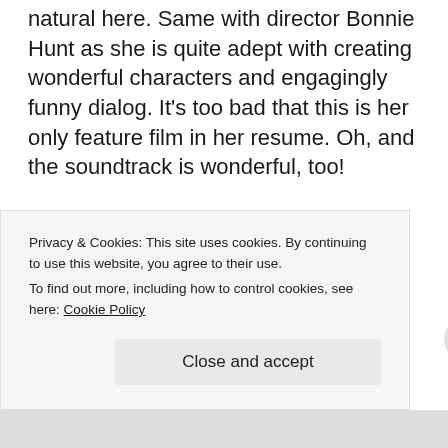natural here. Same with director Bonnie Hunt as she is quite adept with creating wonderful characters and engagingly funny dialog. It's too bad that this is her only feature film in her resume. Oh, and the soundtrack is wonderful, too!
Check out the trailer below:
Vodpod videos no longer available.
Privacy & Cookies: This site uses cookies. By continuing to use this website, you agree to their use.
To find out more, including how to control cookies, see here: Cookie Policy
Close and accept